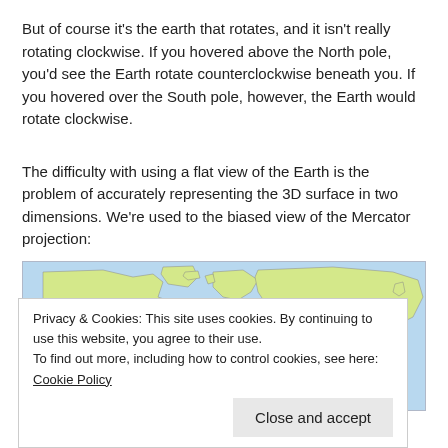But of course it's the earth that rotates, and it isn't really rotating clockwise. If you hovered above the North pole, you'd see the Earth rotate counterclockwise beneath you. If you hovered over the South pole, however, the Earth would rotate clockwise.
The difficulty with using a flat view of the Earth is the problem of accurately representing the 3D surface in two dimensions. We're used to the biased view of the Mercator projection:
[Figure (map): Mercator projection world map showing continents in yellow-green on a light blue ocean background.]
Privacy & Cookies: This site uses cookies. By continuing to use this website, you agree to their use.
To find out more, including how to control cookies, see here: Cookie Policy